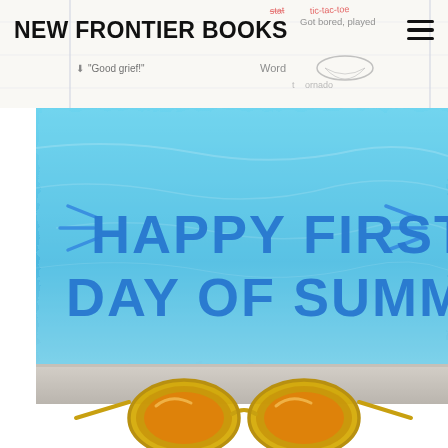NEW FRONTIER BOOKS
[Figure (illustration): Background notebook page with handwritten-style doodles and notes: 'Got bored, played tic-tac-toe', 'Good grief!', 'Word Tornado' with a small tornado doodle]
[Figure (photo): Summer promotional image with blue pool water background, bold blue hand-lettered text reading 'HAPPY FIRST DAY OF SUMMER!' with decorative lines, and sunglasses resting on a pool ledge in the foreground]